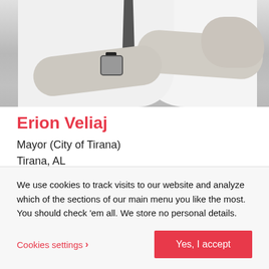[Figure (photo): Black and white photo of a person with arms crossed, wearing a dress shirt, tie, and watch. Only the torso and hands are visible.]
Erion Veliaj
Mayor (City of Tirana)
Tirana, AL
We use cookies to track visits to our website and analyze which of the sections of our main menu you like the most. You should check 'em all. We store no personal details.